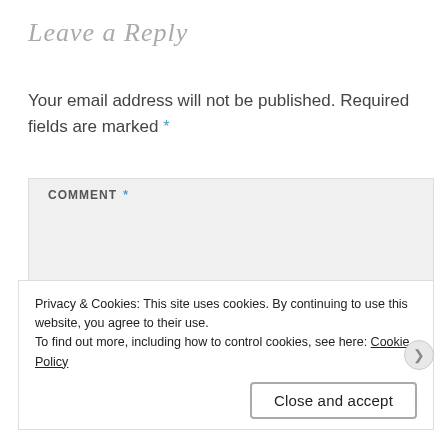Leave a Reply
Your email address will not be published. Required fields are marked *
[Figure (screenshot): Comment text area input field with label COMMENT * on a light gray background]
Privacy & Cookies: This site uses cookies. By continuing to use this website, you agree to their use.
To find out more, including how to control cookies, see here: Cookie Policy
Close and accept